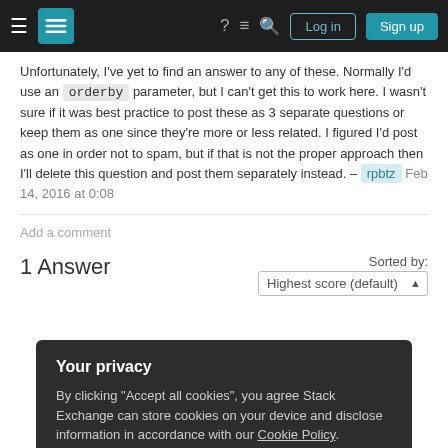Stack Exchange navigation bar with Log in and Sign up buttons
Unfortunately, I've yet to find an answer to any of these. Normally I'd use an orderby parameter, but I can't get this to work here. I wasn't sure if it was best practice to post these as 3 separate questions or keep them as one since they're more or less related. I figured I'd post as one in order not to spam, but if that is not the proper approach then I'll delete this question and post them separately instead. – rpbtz Feb 14, 2016 at 0:08
Add a comment
1 Answer
Sorted by: Highest score (default)
Your privacy
By clicking "Accept all cookies", you agree Stack Exchange can store cookies on your device and disclose information in accordance with our Cookie Policy.
Accept all cookies
Customize settings
PRELUDE